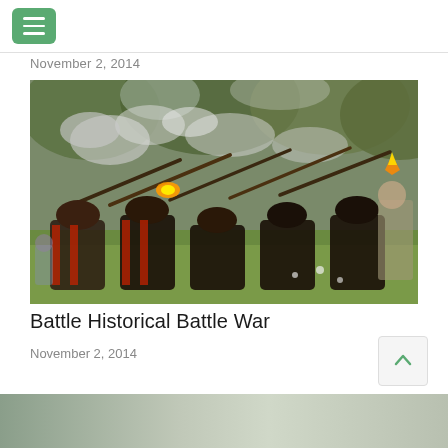November 2, 2014
[Figure (photo): Historical battle reenactment showing soldiers in 17th century red and black uniforms kneeling and firing muskets with smoke rising, on a green field]
Battle Historical Battle War
November 2, 2014
[Figure (photo): Partial view of another article image at the bottom of the page]